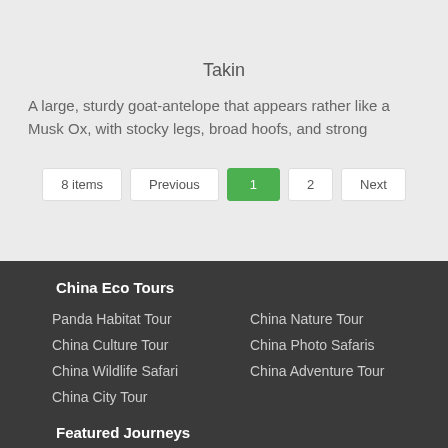Takin
A large, sturdy goat-antelope that appears rather like a Musk Ox, with stocky legs, broad hoofs, and strong
8 items  Previous  1  2  Next
China Eco Tours
Panda Habitat Tour
China Nature Tour
China Culture Tour
China Photo Safaris
China Wildlife Safari
China Adventure Tour
China City Tour
Featured Journeys